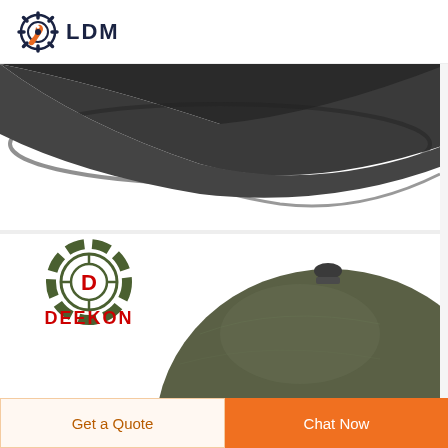[Figure (logo): LDM brand logo with gear and wrench icon in dark navy and orange, text LDM in bold dark navy letters]
[Figure (photo): Close-up product photo of a dark/black military or ballistic helmet brim from below, showing the rim and shell detail against white background]
[Figure (logo): DEEKON brand logo: circular target/crosshair graphic in camouflage green with red letter D in center, DEEKON text in bold red below]
[Figure (photo): Product photo of an olive drab/green military steel helmet (M1-style) viewed from above-front angle, showing dome shape with small lip at top, against white background]
Get a Quote
Chat Now